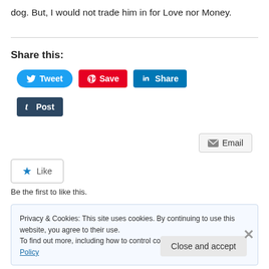dog. But, I would not trade him in for Love nor Money.
Share this:
[Figure (screenshot): Social sharing buttons: Tweet (Twitter blue), Save (Pinterest red), Share (LinkedIn blue), Post (Tumblr dark blue), Email (grey)]
[Figure (screenshot): Like button with star icon]
Be the first to like this.
Privacy & Cookies: This site uses cookies. By continuing to use this website, you agree to their use.
To find out more, including how to control cookies, see here: Cookie Policy